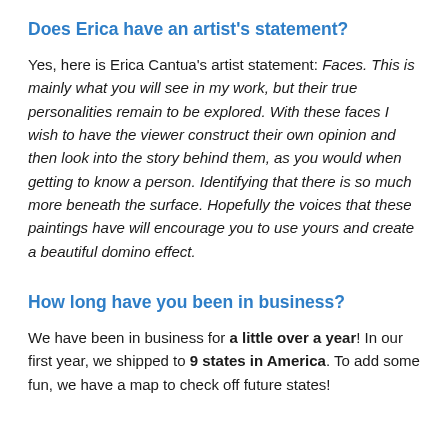Does Erica have an artist's statement?
Yes, here is Erica Cantua's artist statement: Faces. This is mainly what you will see in my work, but their true personalities remain to be explored. With these faces I wish to have the viewer construct their own opinion and then look into the story behind them, as you would when getting to know a person. Identifying that there is so much more beneath the surface. Hopefully the voices that these paintings have will encourage you to use yours and create a beautiful domino effect.
How long have you been in business?
We have been in business for a little over a year! In our first year, we shipped to 9 states in America. To add some fun, we have a map to check off future states!